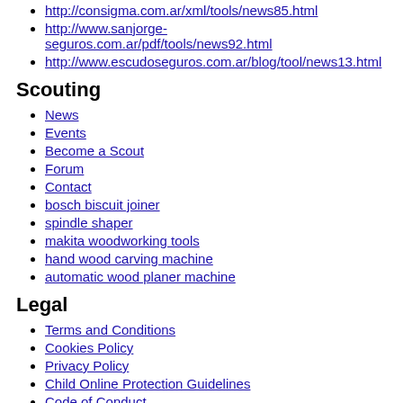http://consigma.com.ar/xml/tools/news85.html
http://www.sanjorge-seguros.com.ar/pdf/tools/news92.html
http://www.escudoseguros.com.ar/blog/tool/news13.html
Scouting
News
Events
Become a Scout
Forum
Contact
bosch biscuit joiner
spindle shaper
makita woodworking tools
hand wood carving machine
automatic wood planer machine
Legal
Terms and Conditions
Cookies Policy
Privacy Policy
Child Online Protection Guidelines
Code of Conduct